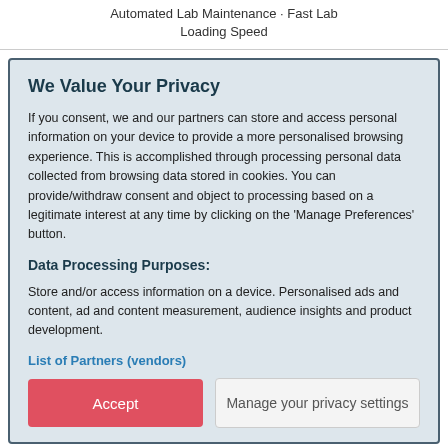Automated Lab Maintenance · Fast Lab Loading Speed
We Value Your Privacy
If you consent, we and our partners can store and access personal information on your device to provide a more personalised browsing experience. This is accomplished through processing personal data collected from browsing data stored in cookies. You can provide/withdraw consent and object to processing based on a legitimate interest at any time by clicking on the 'Manage Preferences' button.
Data Processing Purposes:
Store and/or access information on a device. Personalised ads and content, ad and content measurement, audience insights and product development.
List of Partners (vendors)